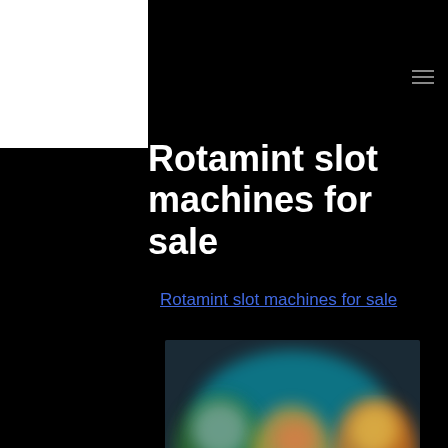Rotamint slot machines for sale
Rotamint slot machines for sale
[Figure (photo): Blurred colorful image showing slot machine game screens with animated characters on dark background]